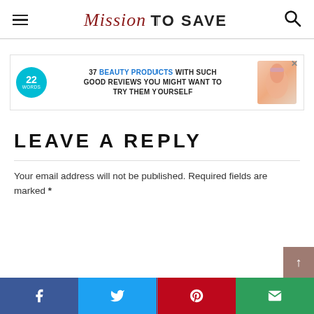Mission TO SAVE
[Figure (infographic): Advertisement banner: 22 Words logo (teal circle), text '37 BEAUTY PRODUCTS WITH SUCH GOOD REVIEWS YOU MIGHT WANT TO TRY THEM YOURSELF' with image of beauty products]
LEAVE A REPLY
Your email address will not be published. Required fields are marked *